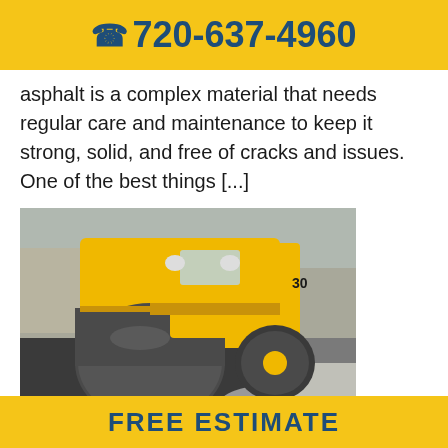720-637-4960
asphalt is a complex material that needs regular care and maintenance to keep it strong, solid, and free of cracks and issues. One of the best things [...]
[Figure (photo): A yellow road roller / asphalt compactor machine rolling fresh dark asphalt on a road surface, with loose gravel visible at the edge.]
FREE ESTIMATE